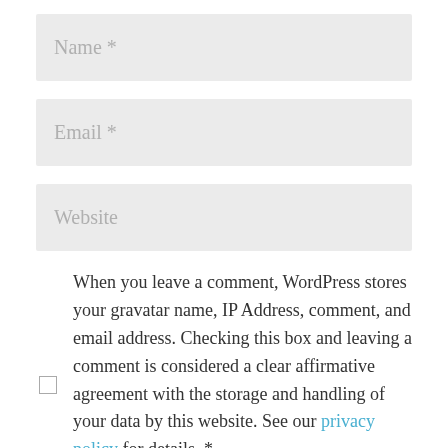Name *
Email *
Website
When you leave a comment, WordPress stores your gravatar name, IP Address, comment, and email address. Checking this box and leaving a comment is considered a clear affirmative agreement with the storage and handling of your data by this website. See our privacy policy for details. *